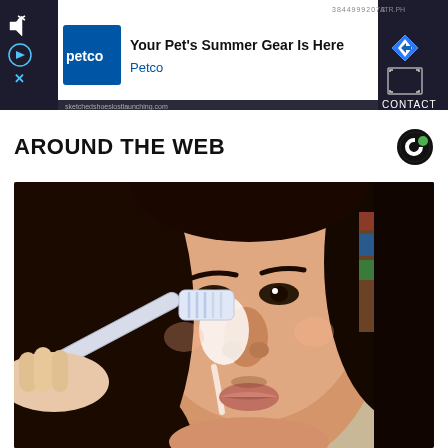[Figure (screenshot): Advertisement banner: Petco 'Your Pet's Summer Gear Is Here' ad with video controls, Petco logo in blue, navigation arrow icon, fullscreen icon, and CONTACT label on dark background.]
AROUND THE WEB
[Figure (photo): Close-up photo of a young woman with long dark hair applying white paste to her nose with a toothbrush, a beauty/skincare tutorial image.]